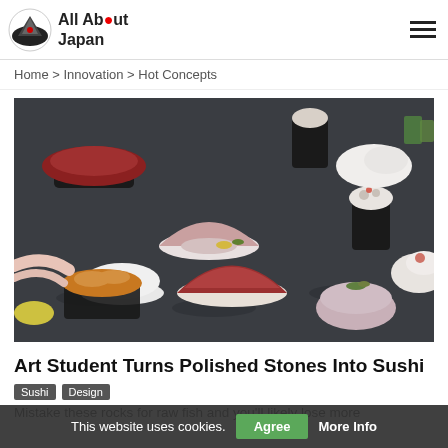All About Japan
Home > Innovation > Hot Concepts
[Figure (photo): Photograph of polished stones painted and sculpted to look like various types of sushi (nigiri and maki) arranged on a dark surface, viewed from slightly above.]
Art Student Turns Polished Stones Into Sushi
Sushi  Design
Mistake these rocks for raw fish and you'll likely lose more